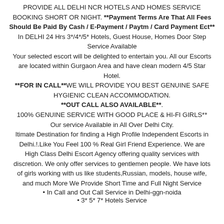PROVIDE ALL DELHI NCR HOTELS AND HOMES SERVICE BOOKING SHORT OR NIGHT. **Payment Terms Are That All Fees Should Be Paid By Cash / E-Payment / Paytm / Card Payment Ect** In DELHI 24 Hrs 3*/4*/5* Hotels, Guest House, Homes Door Step Service Available
Your selected escort will be delighted to entertain you. All our Escorts are located within Gurgaon Area and have clean modern 4/5 Star Hotel.
**FOR IN CALL**WE WILL PROVIDE YOU BEST GENUINE SAFE HYGIENIC CLEAN ACCOMMODATION.
**OUT CALL ALSO AVAILABLE**.
100% GENUINE SERVICE WITH GOOD PLACE & HI-FI GIRLS**
Our service Available in All Over Delhi City.
ltimate Destination for finding a High Profile Independent Escorts in Delhi.!.Like You Feel 100 % Real Girl Friend Experience. We are High Class Delhi Escort Agency offering quality services with discretion. We only offer services to gentlemen people. We have lots of girls working with us like students,Russian, models, house wife, and much More We Provide Short Time and Full Night Service
In Call and Out Call Service in Delhi-ggn-noida
3* 5* 7* Hotels Service